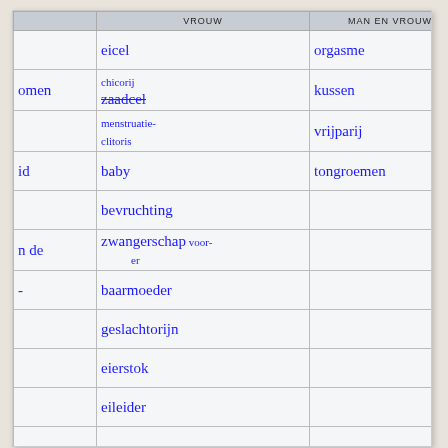| (partial) | VROUW | MAN en VROUW |
| --- | --- | --- |
|  | eicel | orgasme |
| omen | chicorij / ~~zaadcel~~ | kussen |
|  | menstruatie / clitoris | vrijparij |
| id | baby | tongroemen |
|  | bevruchting |  |
| n de | zwangerschap / voor- er |  |
| - | baarmoeder |  |
|  | geslachtorijn |  |
|  | eierstok |  |
|  | eileider |  |
|  | ... |  |